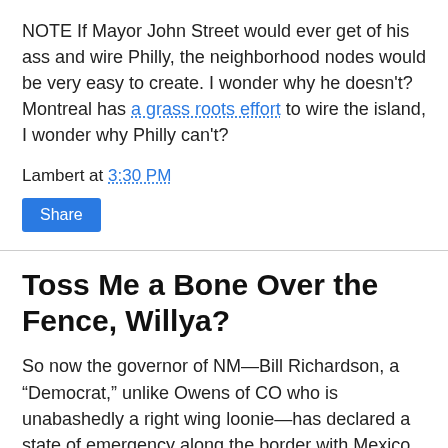NOTE If Mayor John Street would ever get of his ass and wire Philly, the neighborhood nodes would be very easy to create. I wonder why he doesn't? Montreal has a grass roots effort to wire the island, I wonder why Philly can't?
Lambert at 3:30 PM
Share
Toss Me a Bone Over the Fence, Willya?
So now the governor of NM—Bill Richardson, a “Democrat,” unlike Owens of CO who is unabashedly a right wing loonie—has declared a state of emergency along the border with Mexico. This, he says, will allow them to build new, bigger, more hazardous fences than already exist, along with other goodies designed to draw the line in the sand ever deeper. Ahhh, treaties. (I’m thinking Guadalupe-Hidalgo, here) As any Native American will tell you, treaties ain’t worth spit.
Howard Zinn is right in his recent attacks on nationalism